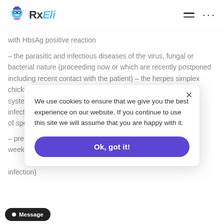RxEli
with HbsAg positive reaction
– the parasitic and infectious diseases of the virus, fungal or bacterial nature (proceeding now or which are recently postponed including recent contact with the patient) – the herpes simplex chicken pox, m system mycosis s infectious disea nd of specific ther
We use cookies to ensure that we give you the best experience on our website. If you continue to use this site we will assume that you are happy with it.
– pre- and the 2 weeks after vac immunodeficiency) (including AIDS or HIV infection)